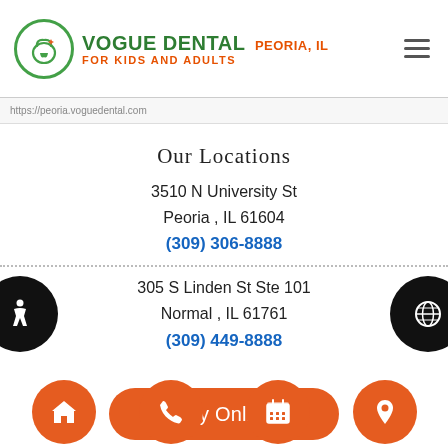[Figure (logo): Vogue Dental logo with tooth icon in green circle, green text 'VOGUE DENTAL', orange text 'PEORIA, IL' and 'FOR KIDS AND ADULTS']
https://peoria.voguedental.com
Our Locations
3510 N University St
Peoria , IL 61604
(309) 306-8888
305 S Linden St Ste 101
Normal , IL 61761
(309) 449-8888
Pay Online
[Figure (infographic): Four orange circular navigation buttons at bottom: home icon, phone icon, calendar icon, location pin icon]